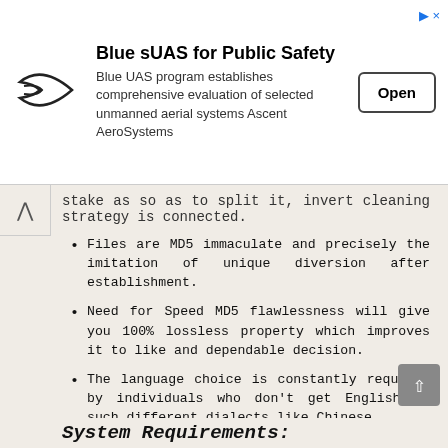[Figure (other): Advertisement banner for Blue sUAS for Public Safety by Ascent AeroSystems with an Open button]
stake as so as to split it, invert cleaning strategy is connected.
Files are MD5 immaculate and precisely the imitation of unique diversion after establishment.
Need for Speed MD5 flawlessness will give you 100% lossless property which improves it to like and dependable decision.
The language choice is constantly required by individuals who don't get English or such different dialects like Chinese.
Well, every one of the dialects are accessible in this repack and you can pick the correct one effectively.
Need for Speed are all the key highlights making this repack favorably and you can depend on it. You can be the best gamer by leaning toward split as well.
System Requirements: